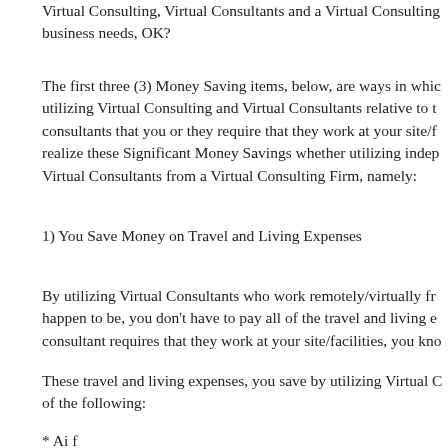Virtual Consulting, Virtual Consultants and a Virtual Consulting business needs, OK?
The first three (3) Money Saving items, below, are ways in which utilizing Virtual Consulting and Virtual Consultants relative to the consultants that you or they require that they work at your site/f... realize these Significant Money Savings whether utilizing indep... Virtual Consultants from a Virtual Consulting Firm, namely:
1) You Save Money on Travel and Living Expenses
By utilizing Virtual Consultants who work remotely/virtually fr... happen to be, you don't have to pay all of the travel and living e... consultant requires that they work at your site/facilities, you kno...
These travel and living expenses, you save by utilizing Virtual C... of the following:
* Ai f...